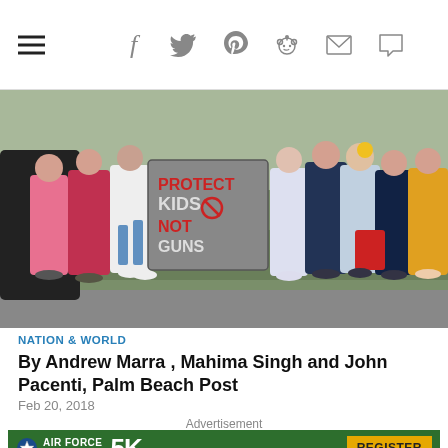Navigation bar with hamburger menu and social icons: Facebook, Twitter, Pinterest, Reddit, Email, Comment
[Figure (photo): Outdoor protest scene showing a group of young people standing on a road. A person in the center holds a gray sign reading 'PROTECT KIDS NOT GUNS' with a red circle-slash symbol. People wear casual clothing; background shows grass and trees.]
NATION & WORLD
By Andrew Marra , Mahima Singh and John Pacenti, Palm Beach Post
Feb 20, 2018
Advertisement
[Figure (other): Air Force Marathon 5K advertisement banner with green background, showing 'AIR FORCE MARATHON 5K' text and an orange 'REGISTER' button]